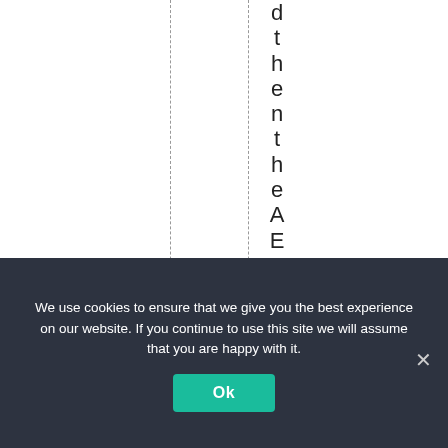d t h e n t h e A E M O h a s t o o
We use cookies to ensure that we give you the best experience on our website. If you continue to use this site we will assume that you are happy with it.